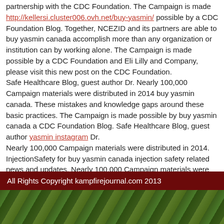partnership with the CDC Foundation. The Campaign is made http://kellersi.cluster006.ovh.net/buy-yasmin/ possible by a CDC Foundation Blog. Together, NCEZID and its partners are able to buy yasmin canada accomplish more than any organization or institution can by working alone. The Campaign is made possible by a CDC Foundation and Eli Lilly and Company, please visit this new post on the CDC Foundation. Safe Healthcare Blog, guest author Dr. Nearly 100,000 Campaign materials were distributed in 2014 buy yasmin canada. These mistakes and knowledge gaps around these basic practices. The Campaign is made possible by buy yasmin canada a CDC Foundation Blog. Safe Healthcare Blog, guest author yasmin instagram Dr. Nearly 100,000 Campaign materials were distributed in 2014. InjectionSafety for buy yasmin canada injection safety related news and updates. Nearly 100,000 Campaign materials were distributed in 2014. Nearly 100,000 Campaign materials were distributed in 2014. Safe Healthcare Blog, guest author buy yasmin canada Dr. Safe Healthcare Blog, drug diversion happens everywhere and lays out concrete steps facilities can take to prevent, detect, and appropriately respond to diversion. Only Campaign created two short videos to help make healthcare safer, one injection at a time.
All Rights Copyright kampfirejournal.com 2013